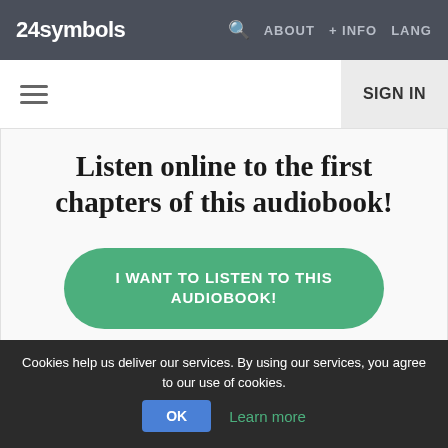24symbols  ABOUT  + INFO  LANG
≡  SIGN IN
Listen online to the first chapters of this audiobook!
I WANT TO LISTEN TO THIS AUDIOBOOK!
Cookies help us deliver our services. By using our services, you agree to our use of cookies.
OK  Learn more